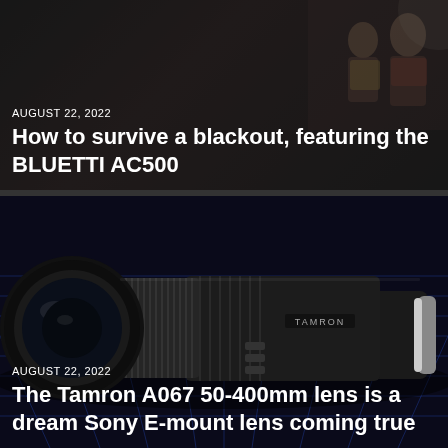AUGUST 22, 2022
How to survive a blackout, featuring the BLUETTI AC500
[Figure (photo): Dark background card with a decorative photo scene, serving as article thumbnail for blackout/BLUETTI AC500 article]
AUGUST 22, 2022
[Figure (photo): Tamron A067 50-400mm camera lens displayed on a dark background with blue grid lines, product photo]
The Tamron A067 50-400mm lens is a dream Sony E-mount lens coming true